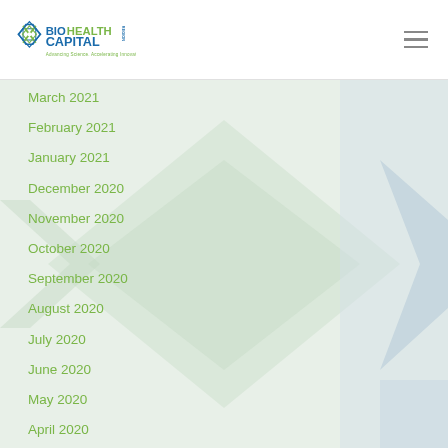BioHealth Capital Region — Advancing Science. Accelerating Innovation.
March 2021
February 2021
January 2021
December 2020
November 2020
October 2020
September 2020
August 2020
July 2020
June 2020
May 2020
April 2020